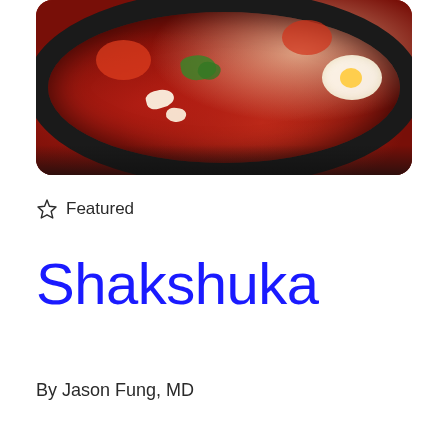[Figure (photo): Shakshuka in a cast iron skillet — eggs poached in red tomato sauce with cheese crumbles and fresh herbs, viewed from above]
☆ Featured
Shakshuka
By Jason Fung, MD